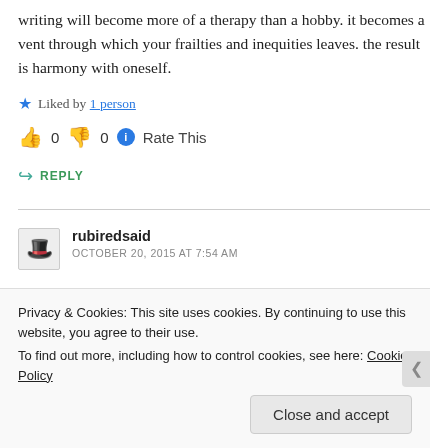writing will become more of a therapy than a hobby. it becomes a vent through which your frailties and inequities leaves. the result is harmony with oneself.
Liked by 1 person
👍 0 👎 0 ℹ Rate This
↪ REPLY
rubiredsaid
OCTOBER 20, 2015 AT 7:54 AM
Privacy & Cookies: This site uses cookies. By continuing to use this website, you agree to their use.
To find out more, including how to control cookies, see here: Cookie Policy
Close and accept